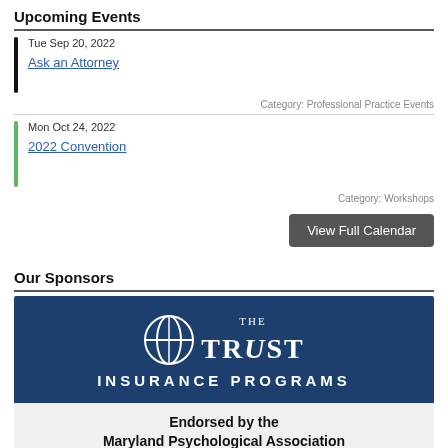Upcoming Events
Tue Sep 20, 2022
Ask an Attorney
Category: Professional Practice Events
Mon Oct 24, 2022
2022 Convention
Category: Workshops
View Full Calendar
Our Sponsors
[Figure (logo): The Trust Insurance Programs logo with endorsement text: Endorsed by the Maryland Psychological Association]